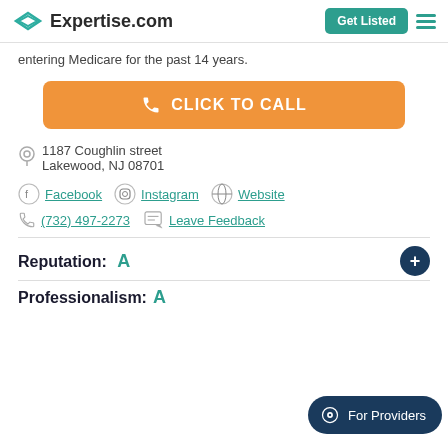Expertise.com — Get Listed
entering Medicare for the past 14 years.
CLICK TO CALL
1187 Coughlin street
Lakewood, NJ 08701
Facebook  Instagram  Website
(732) 497-2273  Leave Feedback
Reputation: A
Professionalism: A